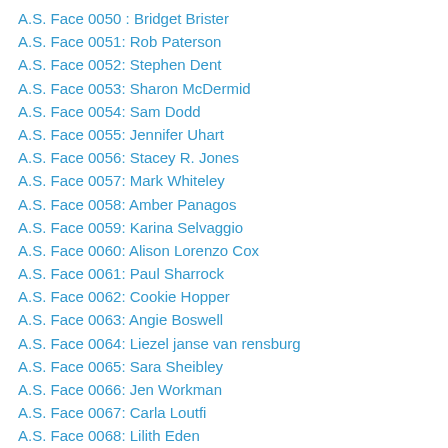A.S. Face 0050 : Bridget Brister
A.S. Face 0051: Rob Paterson
A.S. Face 0052: Stephen Dent
A.S. Face 0053: Sharon McDermid
A.S. Face 0054: Sam Dodd
A.S. Face 0055: Jennifer Uhart
A.S. Face 0056: Stacey R. Jones
A.S. Face 0057: Mark Whiteley
A.S. Face 0058: Amber Panagos
A.S. Face 0059: Karina Selvaggio
A.S. Face 0060: Alison Lorenzo Cox
A.S. Face 0061: Paul Sharrock
A.S. Face 0062: Cookie Hopper
A.S. Face 0063: Angie Boswell
A.S. Face 0064: Liezel janse van rensburg
A.S. Face 0065: Sara Sheibley
A.S. Face 0066: Jen Workman
A.S. Face 0067: Carla Loutfi
A.S. Face 0068: Lilith Eden
A.S. Face 0069: Tommy Pickett